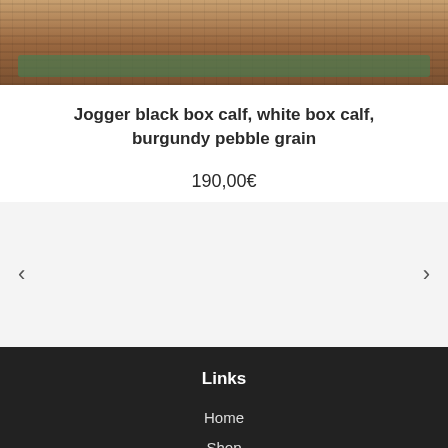[Figure (photo): Cropped bottom portion of a product photo showing textured brown/tan surface with a green bar near the bottom]
Jogger black box calf, white box calf, burgundy pebble grain
190,00€
[Figure (other): Related products carousel section with left and right navigation arrows on a light grey background]
Links
Home
Shop